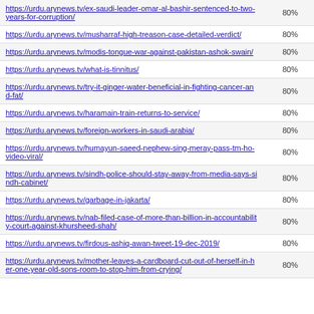| URL | Score |
| --- | --- |
| https://urdu.arynews.tv/ex-saudi-leader-omar-al-bashir-sentenced-to-two-years-for-corruption/ | 80% |
| https://urdu.arynews.tv/musharraf-high-treason-case-detailed-verdict/ | 80% |
| https://urdu.arynews.tv/modis-tongue-war-against-pakistan-ashok-swain/ | 80% |
| https://urdu.arynews.tv/what-is-tinnitus/ | 80% |
| https://urdu.arynews.tv/try-it-ginger-water-beneficial-in-fighting-cancer-and-fat/ | 80% |
| https://urdu.arynews.tv/haramain-train-returns-to-service/ | 80% |
| https://urdu.arynews.tv/foreign-workers-in-saudi-arabia/ | 80% |
| https://urdu.arynews.tv/humayun-saeed-nephew-sing-meray-pass-tm-ho-video-viral/ | 80% |
| https://urdu.arynews.tv/sindh-police-should-stay-away-from-media-says-sindh-cabinet/ | 80% |
| https://urdu.arynews.tv/garbage-in-jakarta/ | 80% |
| https://urdu.arynews.tv/nab-filed-case-of-more-than-billion-in-accountability-court-against-khursheed-shah/ | 80% |
| https://urdu.arynews.tv/firdous-ashiq-awan-tweet-19-dec-2019/ | 80% |
| https://urdu.arynews.tv/mother-leaves-a-cardboard-cut-out-of-herself-in-her-one-year-old-sons-room-to-stop-him-from-crying/ | 80% |